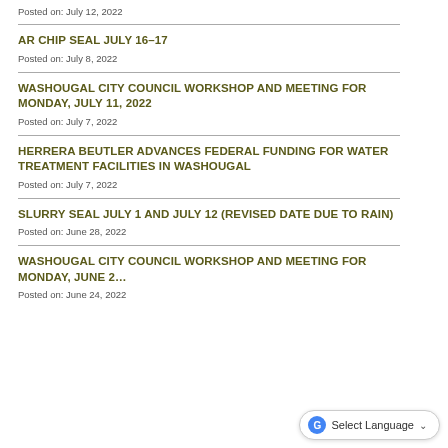Posted on: July 12, 2022
AR CHIP SEAL JULY 16–17
Posted on: July 8, 2022
WASHOUGAL CITY COUNCIL WORKSHOP AND MEETING FOR MONDAY, JULY 11, 2022
Posted on: July 7, 2022
HERRERA BEUTLER ADVANCES FEDERAL FUNDING FOR WATER TREATMENT FACILITIES IN WASHOUGAL
Posted on: July 7, 2022
SLURRY SEAL JULY 1 AND JULY 12 (REVISED DATE DUE TO RAIN)
Posted on: June 28, 2022
WASHOUGAL CITY COUNCIL WORKSHOP AND MEETING FOR MONDAY, JUNE 2…
Posted on: June 24, 2022